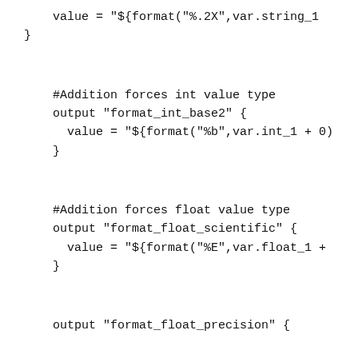value = "${format("%.2X",var.string_1
}
#Addition forces int value type
output "format_int_base2" {
   value = "${format("%b",var.int_1 + 0)
}
#Addition forces float value type
output "format_float_scientific" {
   value = "${format("%E",var.float_1 +
}
output "format_float_precision" {